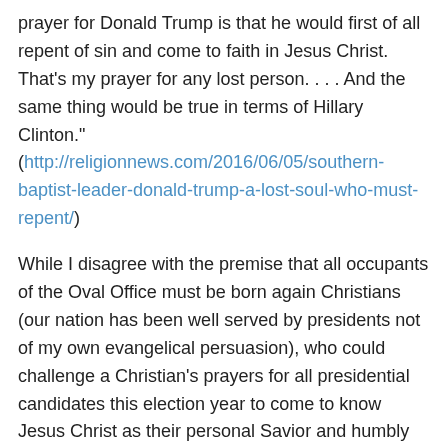prayer for Donald Trump is that he would first of all repent of sin and come to faith in Jesus Christ. That's my prayer for any lost person. . . . And the same thing would be true in terms of Hillary Clinton." (http://religionnews.com/2016/06/05/southern-baptist-leader-donald-trump-a-lost-soul-who-must-repent/)
While I disagree with the premise that all occupants of the Oval Office must be born again Christians (our nation has been well served by presidents not of my own evangelical persuasion), who could challenge a Christian's prayers for all presidential candidates this election year to come to know Jesus Christ as their personal Savior and humbly but confidently follow Him in their exercise of the presidential office? While the office of President is not a Christian or even